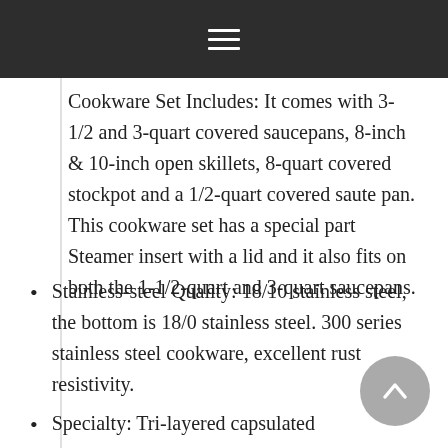☰
Cookware Set Includes: It comes with 3-1/2 and 3-quart covered saucepans, 8-inch & 10-inch open skillets, 8-quart covered stockpot and a 1/2-quart covered saute pan. This cookware set has a special part Steamer insert with a lid and it also fits on both the 1-1/2-quart and 3-quart saucepans.
Stainless-steel Quality: 18/10 stainless steel, the bottom is 18/0 stainless steel. 300 series stainless steel cookware, excellent rust resistivity.
Specialty: Tri-layered capsulated